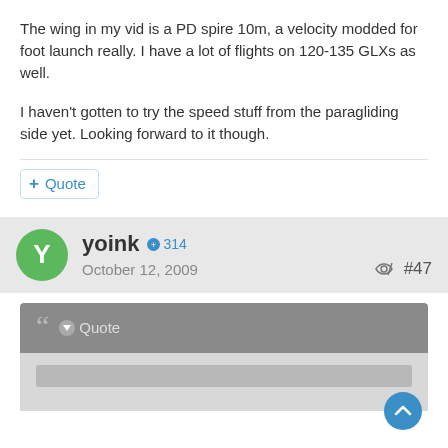The wing in my vid is a PD spire 10m, a velocity modded for foot launch really. I have a lot of flights on 120-135 GLXs as well.
I haven't gotten to try the speed stuff from the paragliding side yet. Looking forward to it though.
+ Quote
yoink  ◉ 314
October 12, 2009   #47
" Quote